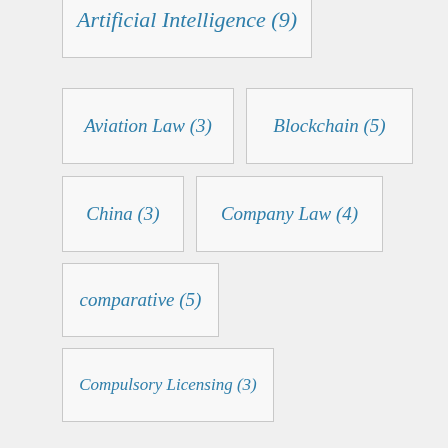Artificial Intelligence (9)
Aviation Law (3)
Blockchain (5)
China (3)
Company Law (4)
comparative (5)
Compulsory Licensing (3)
Constitution (9)
Contracts (4)
Copyright (4)
Corporate Law (5)
Covid-19 (14)
CPC (3)